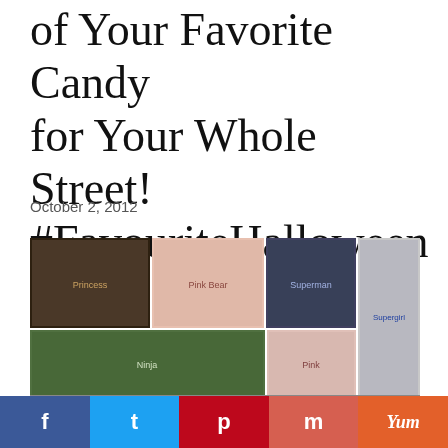of Your Favorite Candy for Your Whole Street! #FavouriteHalloween
October 2, 2012
[Figure (photo): Collage of children in Halloween costumes including a princess, pink bear, Superman, Supergirl, ninja, and more]
f  t  p  m  Yum